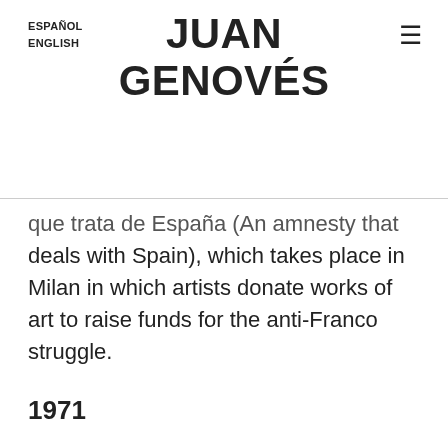ESPAÑOL
ENGLISH
JUAN GENOVÉS
que trata de España (An amnesty that deals with Spain), which takes place in Milan in which artists donate works of art to raise funds for the anti-Franco struggle.
1971
He has a solo show in Germany: in the Kunsterverein in Frankfurt and in the Haus am Waldsee in Berlin, where he